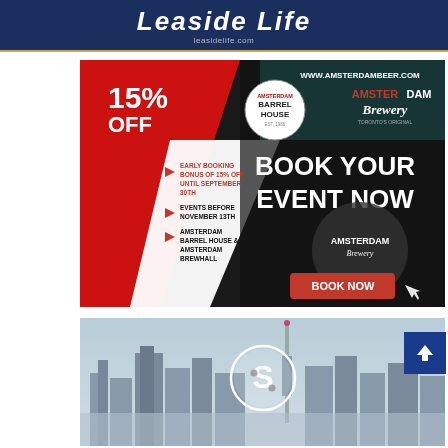Leaside Life leasidelife.com
[Figure (illustration): Amsterdam Brewery advertisement: '15% OFF - BOOK YOUR EVENT NOW' with early booking bonus details, events before November 13th, Amsterdam Barrel House & Amsterdam Brewhall. Red, black and teal design with BOOK NOW button.]
[Figure (photo): Toronto skyline cityscape with CN Tower, with a circular logo overlay (letter S with dots), partial view at bottom of page.]